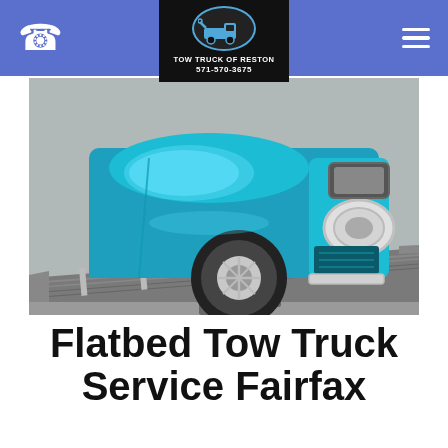TOW TRUCK OF RESTON 571-570-3675
[Figure (photo): A teal/blue vintage car being loaded onto a flatbed tow truck ramp, viewed from the front-left angle showing the headlights and wheel on the ramp.]
Flatbed Tow Truck Service Fairfax